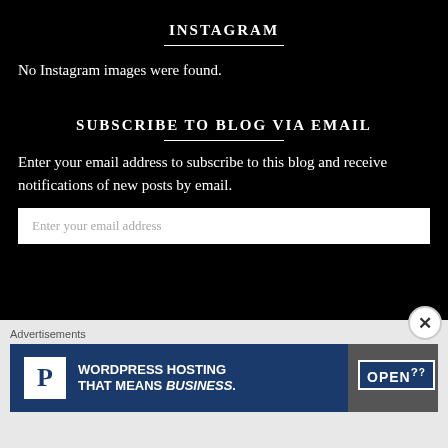INSTAGRAM
No Instagram images were found.
SUBSCRIBE TO BLOG VIA EMAIL
Enter your email address to subscribe to this blog and receive notifications of new posts by email.
Enter your email address
Advertisements
[Figure (other): Advertisement banner for WordPress Hosting showing a P logo box and OPEN sign, text: WORDPRESS HOSTING THAT MEANS BUSINESS.]